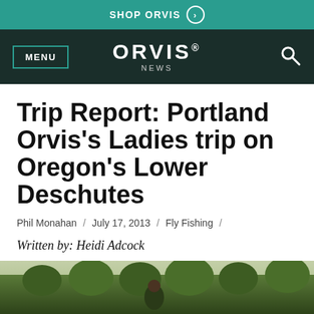SHOP ORVIS
ORVIS NEWS
Trip Report: Portland Orvis’s Ladies trip on Oregon’s Lower Deschutes
Phil Monahan / July 17, 2013 / Fly Fishing /
Written by: Heidi Adcock
[Figure (photo): Bottom portion of an outdoor photo showing trees and natural Oregon landscape scenery]